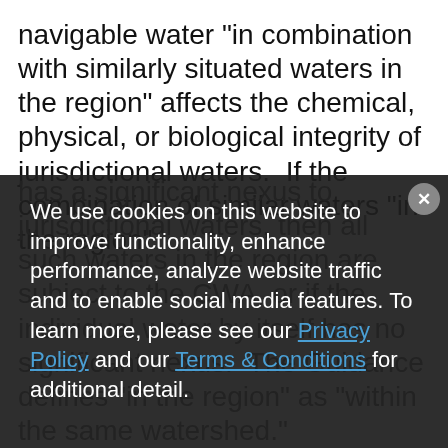navigable water "in combination with similarly situated waters in the region" affects the chemical, physical, or biological integrity of jurisdictional waters.  If the combination of similar waters "in the region" has a significant nexus to jurisdictional waters, then all such waters in the region are subject to the CWA, or if the individual water by itself has no significant nexus.  The Guidance defines "in the region" as "within the same watershed." The Guidance is intended to explain how EPA and the Corps will implement the Supreme Court's decisions in Solid Waste
We use cookies on this website to improve functionality, enhance performance, analyze website traffic and to enable social media features. To learn more, please see our Privacy Policy and our Terms & Conditions for additional detail.